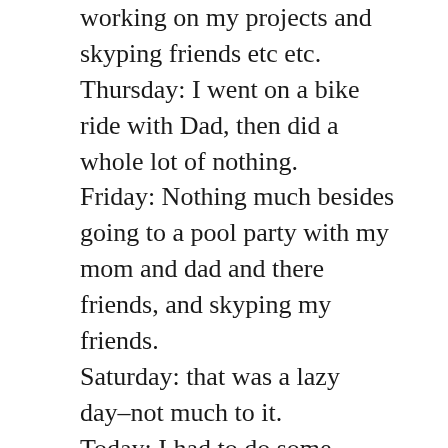working on my projects and skyping friends etc etc.
Thursday: I went on a bike ride with Dad, then did a whole lot of nothing.
Friday: Nothing much besides going to a pool party with my mom and dad and there friends, and skyping my friends.
Saturday: that was a lazy day–not much to it.
Today: I had to do some cleaning, learning more programming etc.
That about sums up my last several days. Now regarding what I said a second ago about the programming thing, that's still going well. I am still in the dark about… non-technical people can just scroll down a bit…
arays, handles to functions and objects, along